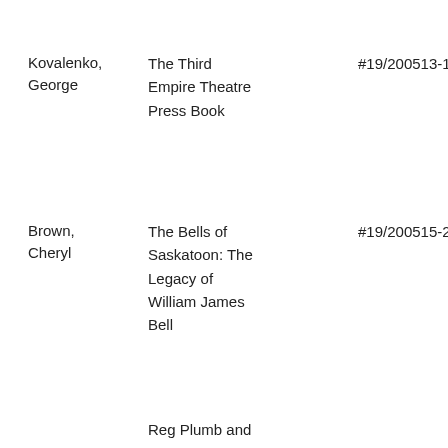Kovalenko, George
The Third Empire Theatre Press Book
#19/200513-141 fig
Brown, Cheryl
The Bells of Saskatoon: The Legacy of William James Bell
#19/200515-217 figs
Reg Plumb and